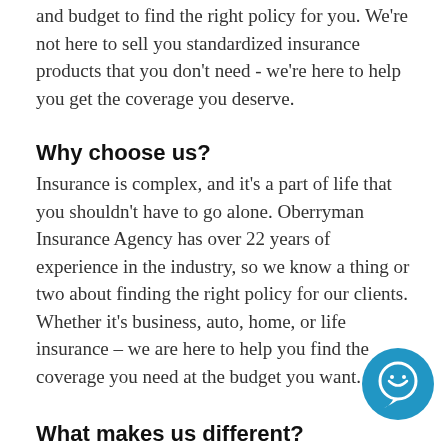and budget to find the right policy for you. We're not here to sell you standardized insurance products that you don't need - we're here to help you get the coverage you deserve.
Why choose us?
Insurance is complex, and it's a part of life that you shouldn't have to go alone. Oberryman Insurance Agency has over 22 years of experience in the industry, so we know a thing or two about finding the right policy for our clients. Whether it's business, auto, home, or life insurance – we are here to help you find the coverage you need at the budget you want.
[Figure (illustration): Blue circular chat bubble icon with a smiley face]
What makes us different?